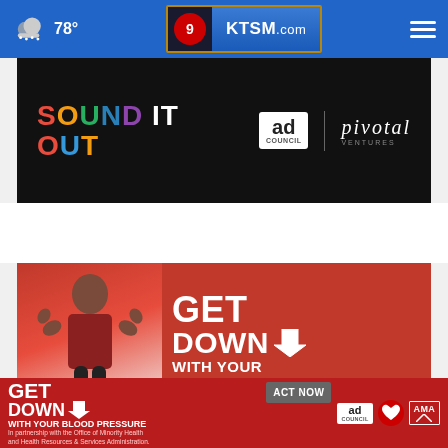78° KTSM.com
[Figure (screenshot): Sound It Out advertisement on black background with Ad Council and Pivotal logos]
[Figure (screenshot): Get Down With Your Blood Pressure advertisement on red background featuring a woman flexing with Act Now button]
[Figure (screenshot): Get Down With Your Blood Pressure bottom banner advertisement with Ad Council, American Heart Association, and AMA logos]